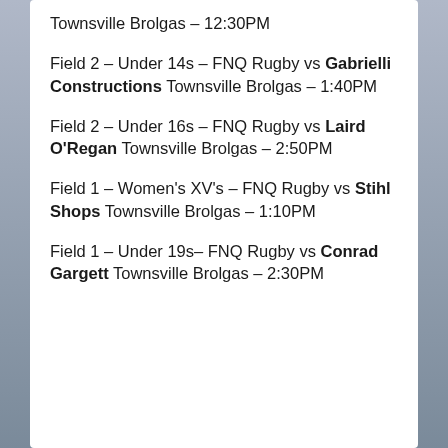Townsville Brolgas – 12:30PM
Field 2 – Under 14s – FNQ Rugby vs Gabrielli Constructions Townsville Brolgas – 1:40PM
Field 2 – Under 16s – FNQ Rugby vs Laird O'Regan Townsville Brolgas – 2:50PM
Field 1 – Women's XV's – FNQ Rugby vs Stihl Shops Townsville Brolgas – 1:10PM
Field 1 – Under 19s– FNQ Rugby vs Conrad Gargett Townsville Brolgas – 2:30PM